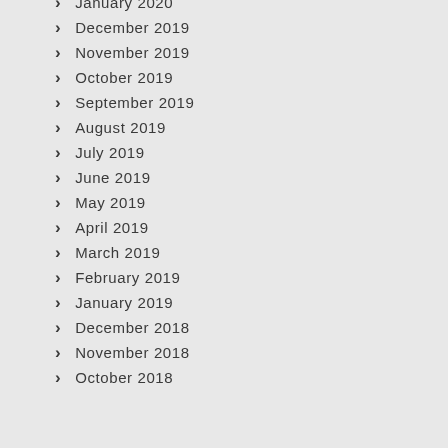January 2020
December 2019
November 2019
October 2019
September 2019
August 2019
July 2019
June 2019
May 2019
April 2019
March 2019
February 2019
January 2019
December 2018
November 2018
October 2018